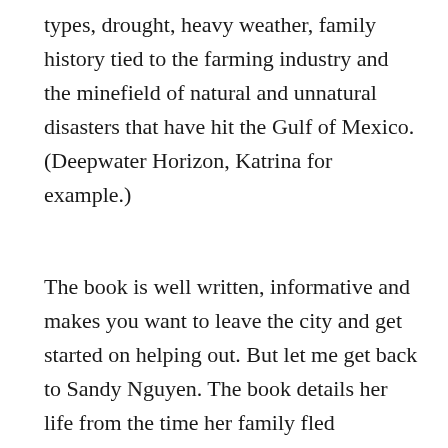types, drought, heavy weather, family history tied to the farming industry and the minefield of natural and unnatural disasters that have hit the Gulf of Mexico. (Deepwater Horizon, Katrina for example.)
The book is well written, informative and makes you want to leave the city and get started on helping out. But let me get back to Sandy Nguyen. The book details her life from the time her family fled